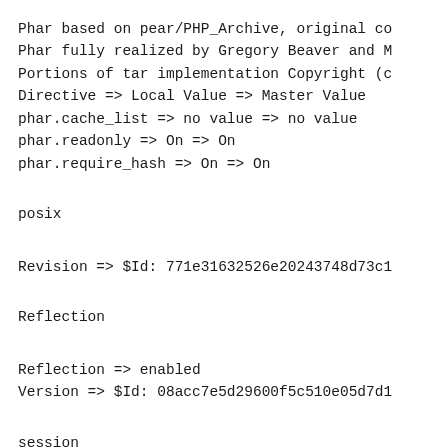Phar based on pear/PHP_Archive, original co
Phar fully realized by Gregory Beaver and M
Portions of tar implementation Copyright (c
Directive => Local Value => Master Value
phar.cache_list => no value => no value
phar.readonly => On => On
phar.require_hash => On => On
posix
Revision => $Id: 771e31632526e20243748d73c1
Reflection
Reflection => enabled
Version => $Id: 08acc7e5d29600f5c510e05d7d1
session